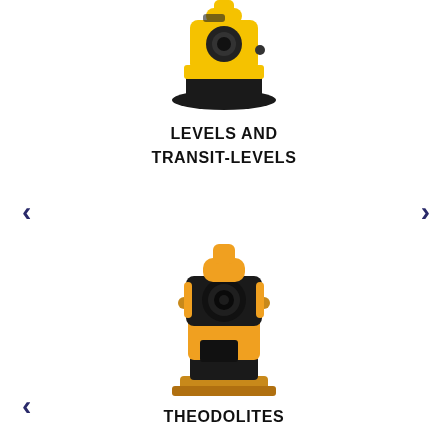[Figure (photo): Yellow and black surveying level instrument, top portion visible, cropped at top of page]
LEVELS AND TRANSIT-LEVELS
[Figure (photo): Yellow and black theodolite surveying instrument on a white background]
THEODOLITES